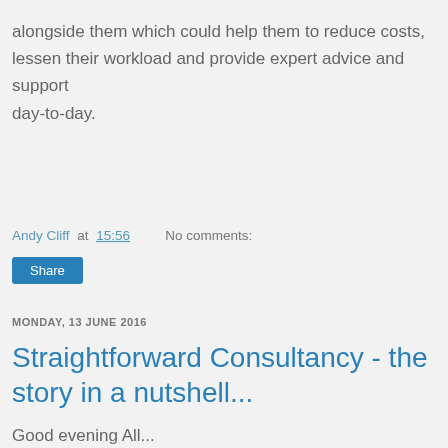alongside them which could help them to reduce costs, lessen their workload and provide expert advice and support day-to-day.
Andy Cliff at 15:56    No comments:
Share
MONDAY, 13 JUNE 2016
Straightforward Consultancy - the story in a nutshell...
Good evening All...